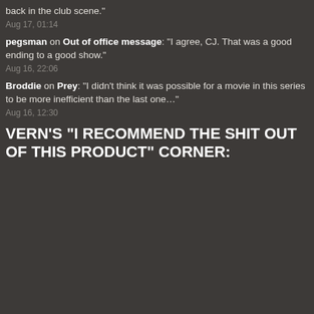back in the club scene."
Aug 17, 01:14
pegsman on Out of office message: “I agree, CJ. That was a good ending to a good show.”
Aug 16, 22:06
Broddie on Prey: “I didn’t think it was possible for a movie in this series to be more inefficient than the last one…”
Aug 16, 12:30
VERN’S “I RECOMMEND THE SHIT OUT OF THIS PRODUCT” CORNER: